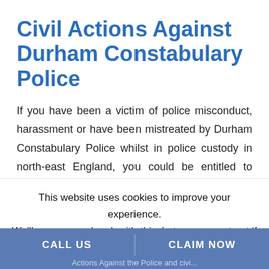Civil Actions Against Durham Constabulary Police
If you have been a victim of police misconduct, harassment or have been mistreated by Durham Constabulary Police whilst in police custody in north-east England, you could be entitled to compensation. You do not have to accept poor
This website uses cookies to improve your experience. We'll assume you're ok with this, but you can opt-out if you wish. Cookie settings ACCEPT
CALL US   Actions Against the Police and civi...   CLAIM NOW